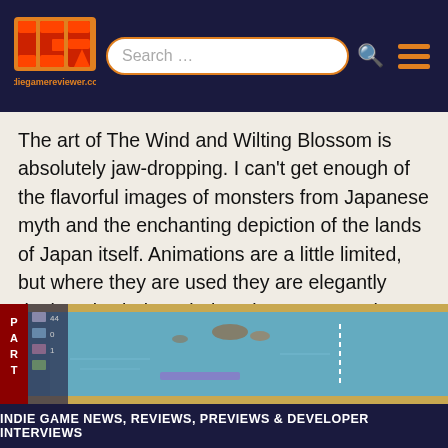indiegamereviewer.com — Search bar and navigation
The art of The Wind and Wilting Blossom is absolutely jaw-dropping. I can't get enough of the flavorful images of monsters from Japanese myth and the enchanting depiction of the lands of Japan itself. Animations are a little limited, but where they are used they are elegantly deployed; wind symbols animate across the map, and rainstorms pour down on parts of regions.
The music is also excellent, capturing the feel of ancient Japan whilst also managing to provide a solid rhythm to action.
[Figure (screenshot): Screenshot of The Wind and Wilting Blossom game map, showing a blue ocean/sea map with islands, UI elements on the left side including red banner with letters P, A, R, T and various game icons.]
INDIE GAME NEWS, REVIEWS, PREVIEWS & DEVELOPER INTERVIEWS